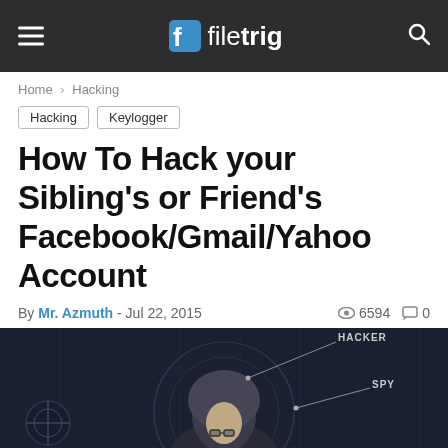filetrig
Home › Hacking
Hacking   Keylogger
How To Hack your Sibling's or Friend's Facebook/Gmail/Yahoo Account
By Mr. Azmuth  - Jul 22, 2015   6594   0
[Figure (photo): A hooded hacker figure with digital overlay graphics showing labels HACKER, SPY, VIRUS on a dark background]